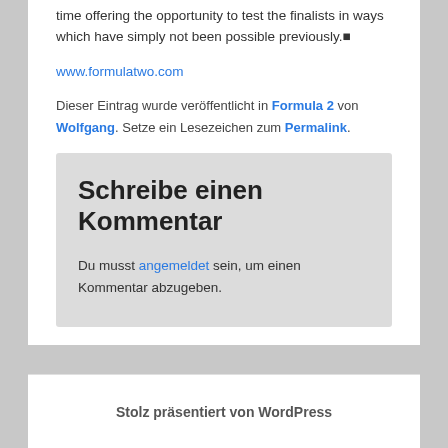time offering the opportunity to test the finalists in ways which have simply not been possible previously.■
www.formulatwo.com
Dieser Eintrag wurde veröffentlicht in Formula 2 von Wolfgang. Setze ein Lesezeichen zum Permalink.
Schreibe einen Kommentar
Du musst angemeldet sein, um einen Kommentar abzugeben.
Stolz präsentiert von WordPress